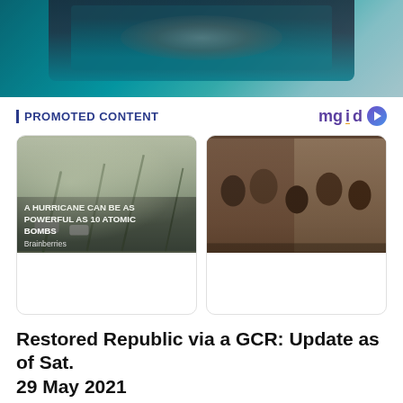[Figure (photo): Top banner showing a cracked or broken screen with teal/cyan background]
PROMOTED CONTENT
[Figure (logo): mgid logo with play button icon]
[Figure (photo): Hurricane scene with trees bending in wind and cars on road, with overlay text: A HURRICANE CAN BE AS POWERFUL AS 10 ATOMIC BOMBS. Source: Brainberries]
[Figure (photo): Band of five musicians posing indoors, with overlay text: 8 BEAUTIFUL SONGS THAT HAVE DISTURBING MEANINGS. Source: Brainberries]
Restored Republic via a GCR: Update as of Sat. 29 May 2021